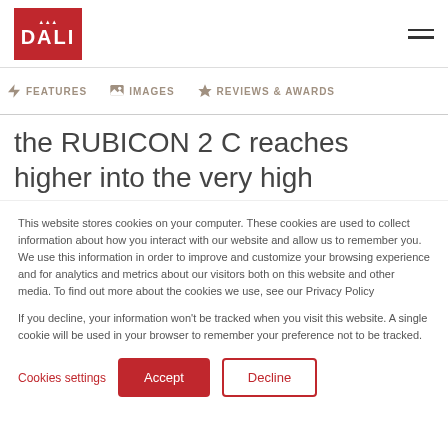DALI
FEATURES   IMAGES   REVIEWS & AWARDS
the RUBICON 2 C reaches higher into the very high frequencies – higher, in fact, than the soft dome used in our signature hybrid tweeter module. And to achieve a
This website stores cookies on your computer. These cookies are used to collect information about how you interact with our website and allow us to remember you. We use this information in order to improve and customize your browsing experience and for analytics and metrics about our visitors both on this website and other media. To find out more about the cookies we use, see our Privacy Policy

If you decline, your information won't be tracked when you visit this website. A single cookie will be used in your browser to remember your preference not to be tracked.
Cookies settings   Accept   Decline